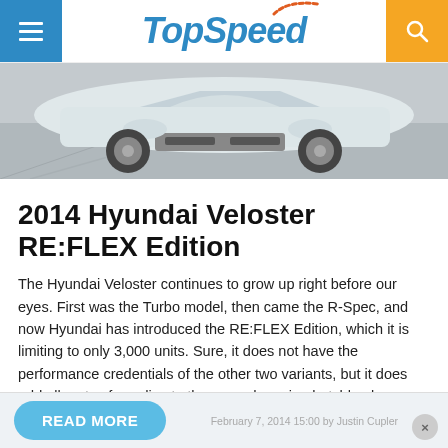TopSpeed
[Figure (photo): Front view of a white Hyundai Veloster RE:FLEX Edition car in a parking garage setting]
2014 Hyundai Veloster RE:FLEX Edition
The Hyundai Veloster continues to grow up right before our eyes. First was the Turbo model, then came the R-Spec, and now Hyundai has introduced the RE:FLEX Edition, which it is limiting to only 3,000 units. Sure, it does not have the performance credentials of the other two variants, but it does add all sorts of goodies to the up-and-coming hatchback.
READ MORE
February 7, 2014 15:00 by Justin Cupler